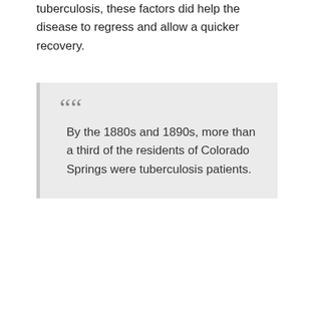tuberculosis, these factors did help the disease to regress and allow a quicker recovery.
By the 1880s and 1890s, more than a third of the residents of Colorado Springs were tuberculosis patients.